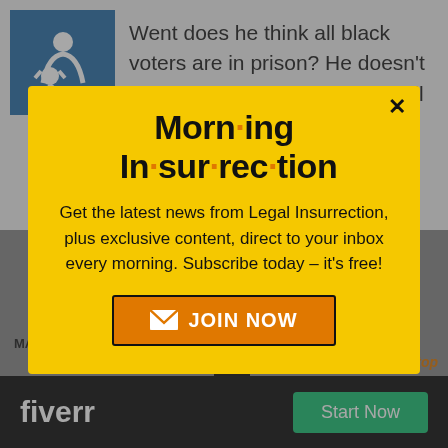Went does he think all black voters are in prison? He doesn't for heaven's sake. He knows all black voters have family or
[Figure (screenshot): Morning Insurrection newsletter signup modal popup with yellow background, close button X, title 'Morn·ing In·sur·rec·tion', subscribe text, and orange JOIN NOW button]
MAJack | August 2019 at 10:05 am
back to top
[Figure (screenshot): Fiverr advertisement banner with black background, fiverr logo in white, and green Start Now button]